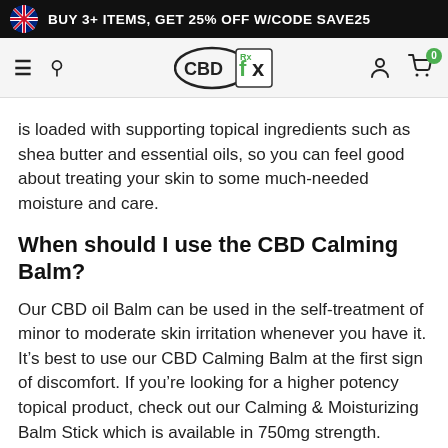BUY 3+ ITEMS, GET 25% OFF W/CODE SAVE25
[Figure (screenshot): CBDfx website navigation bar with hamburger menu, search icon, CBDfx logo, user icon, and cart icon with 0 badge]
is loaded with supporting topical ingredients such as shea butter and essential oils, so you can feel good about treating your skin to some much-needed moisture and care.
When should I use the CBD Calming Balm?
Our CBD oil Balm can be used in the self-treatment of minor to moderate skin irritation whenever you have it. It’s best to use our CBD Calming Balm at the first sign of discomfort. If you’re looking for a higher potency topical product, check out our Calming & Moisturizing Balm Stick which is available in 750mg strength.